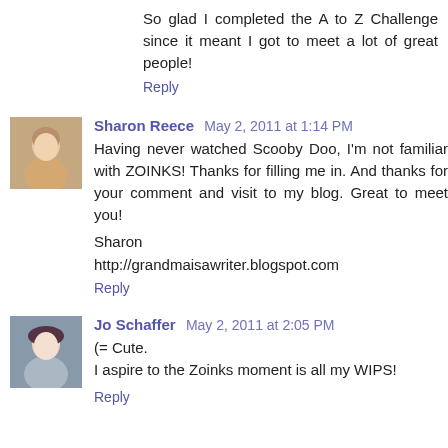So glad I completed the A to Z Challenge since it meant I got to meet a lot of great people!
Reply
Sharon Reece  May 2, 2011 at 1:14 PM
Having never watched Scooby Doo, I'm not familiar with ZOINKS! Thanks for filling me in. And thanks for your comment and visit to my blog. Great to meet you!

Sharon
http://grandmaisawriter.blogspot.com
Reply
Jo Schaffer  May 2, 2011 at 2:05 PM
(= Cute.
I aspire to the Zoinks moment is all my WIPS!
Reply